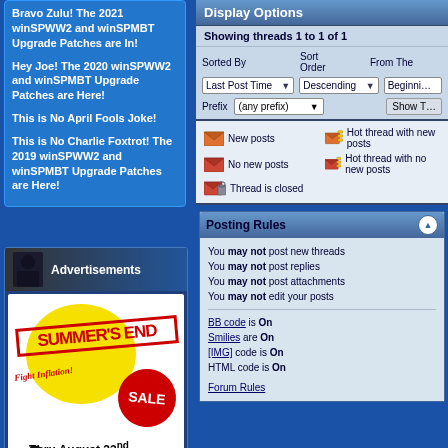Bravo Zulu! The 2021 winSPWW2 and winSPMBT Upgrade Patches are In!

Hey Joe! The 2020 winSPWW2 and winSPMBT Upgrade Patches are Here!

This is No April Fools Joke!

This is No Charlie Foxtrot! The 2019 winSPWW2 and winSPMBT Upgrade Patches are Here!
Advertisements
[Figure (illustration): Summer's End Sale advertisement with yellow circle background, red stamp text SUMMER'S END, Fight Inflation text, red circle SALE sticker, Thru August 22nd text, and silhouette of sniper]
Display Options
Showing threads 1 to 1 of 1
Sorted By: Last Post Time | Sort Order: Descending | From The: Beginning
Prefix: (any prefix)
[Figure (infographic): Forum thread status icons: New posts (orange envelope), Hot thread with new posts (orange envelope with lines), No new posts (red envelope), Hot thread with no new posts (red envelope with lines), Thread is closed (locked envelope)]
Posting Rules
You may not post new threads
You may not post replies
You may not post attachments
You may not edit your posts
BB code is On
Smilies are On
[IMG] code is On
HTML code is On
Forum Rules